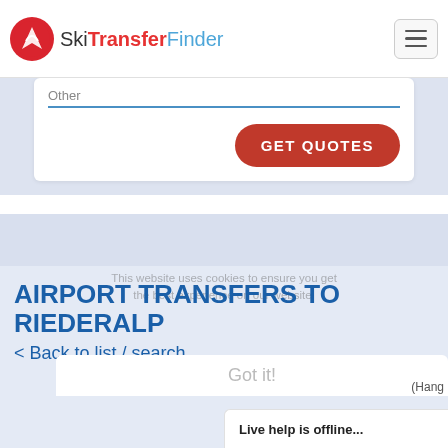Ski Transfer Finder
Other
GET QUOTES
AIRPORT TRANSFERS TO RIEDERALP
< Back to list / search
Got it!
Live help is offline...